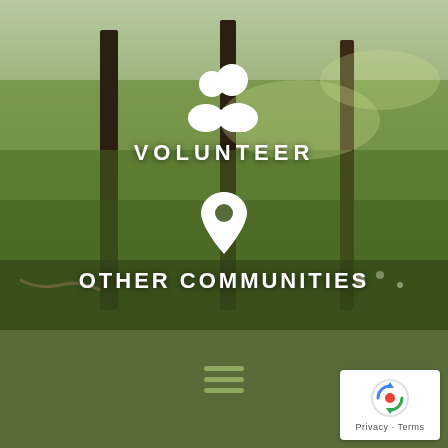[Figure (photo): Background photo of outdoor grassy field with wooden fence posts and sunlit meadow vegetation]
[Figure (illustration): White people/volunteer icon (two overlapping circles representing people)]
VOLUNTEER
[Figure (illustration): White map pin / location marker icon]
OTHER COMMUNITIES
[Figure (illustration): Green hamburger menu icon (three horizontal lines)]
[Figure (illustration): Google reCAPTCHA badge with Privacy and Terms links]